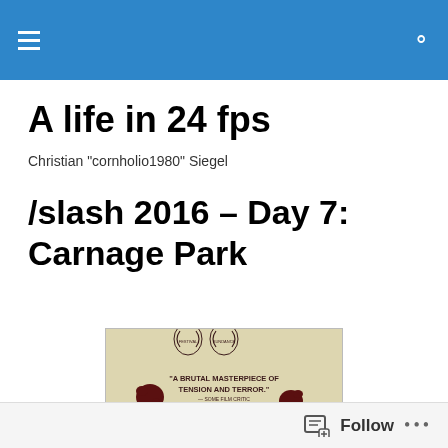A life in 24 fps — header bar with menu and search icons
A life in 24 fps
Christian "cornholio1980" Siegel
/slash 2016 – Day 7: Carnage Park
[Figure (photo): Movie poster for Carnage Park on a beige/parchment background. Text reads: "A BRUTAL MASTERPIECE OF TENSION AND TERROR." with two award laurel badges at the top, blood splatters, and a circular target/crosshair at the bottom.]
Follow  •••